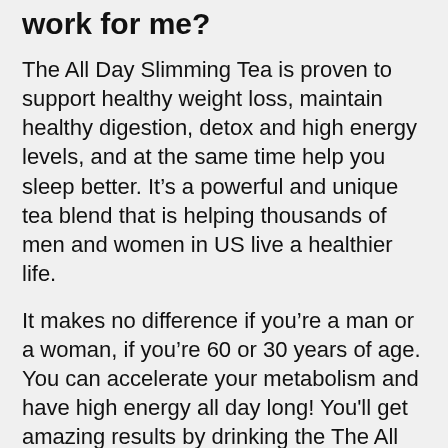work for me?
The All Day Slimming Tea is proven to support healthy weight loss, maintain healthy digestion, detox and high energy levels, and at the same time help you sleep better. It’s a powerful and unique tea blend that is helping thousands of men and women in US live a healthier life.
It makes no difference if you’re a man or a woman, if you’re 60 or 30 years of age. You can accelerate your metabolism and have high energy all day long! You'll get amazing results by drinking the The All Day Slimming Tea daily, ideally for 3 to 6 months.
Most of our clients notice the difference in the first day they start drinking the morning tea...